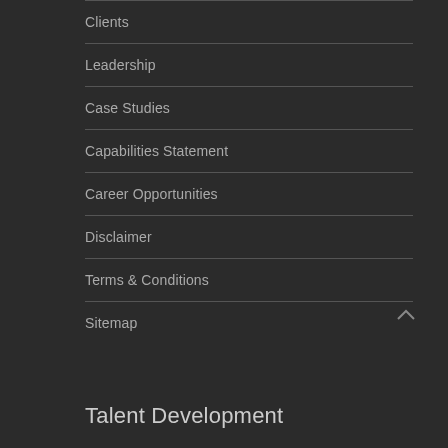Clients
Leadership
Case Studies
Capabilities Statement
Career Opportunities
Disclaimer
Terms & Conditions
Sitemap
Talent Development